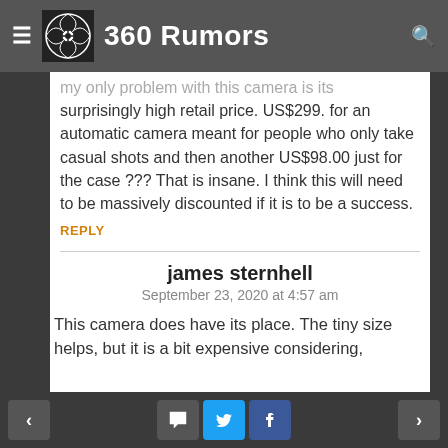360 Rumors
My only problem with this camera is its surprisingly high retail price. US$299. for an automatic camera meant for people who only take casual shots and then another US$98.00 just for the case ??? That is insane. I think this will need to be massively discounted if it is to be a success.
REPLY
james sternhell
September 23, 2020 at 4:57 am
This camera does have its place. The tiny size helps, but it is a bit expensive considering,
< [comment icon] [twitter icon] [facebook icon] >